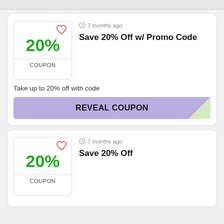[Figure (screenshot): Coupon card 1: 20% off with promo code, 7 months ago, REVEAL COUPON button]
7 months ago
Save 20% Off w/ Promo Code
Take up to 20% off with code
[Figure (screenshot): Coupon card 2: 20% off, 7 months ago, Save 20% Off]
7 months ago
Save 20% Off